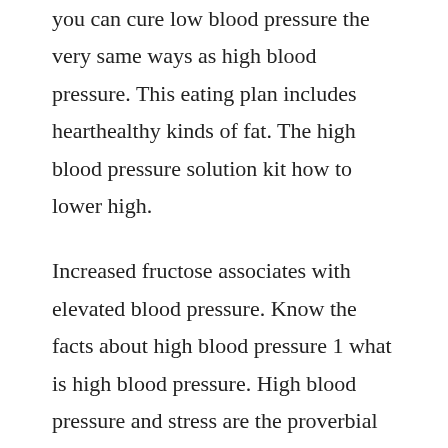you can cure low blood pressure the very same ways as high blood pressure. This eating plan includes hearthealthy kinds of fat. The high blood pressure solution kit how to lower high.
Increased fructose associates with elevated blood pressure. Know the facts about high blood pressure 1 what is high blood pressure. High blood pressure and stress are the proverbial chicken and egg. This means that the stress or anxiety of being in your doctors office causes your blood pressure to be higher than it normally is at home when you are far from